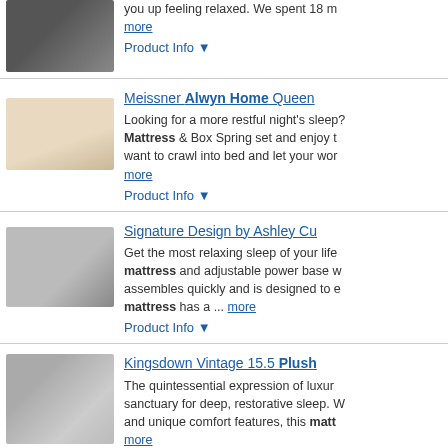[Figure (photo): Dark mattress/bed product image (partial, top of page)]
you up feeling relaxed. We spent 18 m more
Product Info ▼
[Figure (photo): Beige/cream mattress and box spring product image]
Meissner Alwyn Home Queen Looking for a more restful night's sleep? Mattress & Box Spring set and enjoy t want to crawl into bed and let your wor more
Product Info ▼
[Figure (photo): Grey patterned mattress product image]
Signature Design by Ashley Cu Get the most relaxing sleep of your life mattress and adjustable power base w assembles quickly and is designed to e mattress has a ... more
Product Info ▼
[Figure (photo): Kingsdown luxury bed in room setting]
Kingsdown Vintage 15.5 Plush The quintessential expression of luxur sanctuary for deep, restorative sleep. W and unique comfort features, this matt more
Product Info ▼
[Figure (photo): Image Not Available placeholder]
Kingsdown Vintage 15.5 Plush The quintessential expression of luxur sanctuary for deep, restorative sleep. i